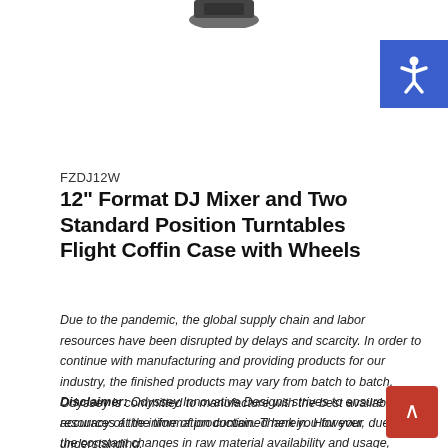[Figure (photo): Partial view of a black flight case/coffin case product at the very top of the page]
[Figure (illustration): Accessibility icon button in blue square, top right corner]
FZDJ12W
12" Format DJ Mixer and Two Standard Position Turntables Flight Coffin Case with Wheels
Due to the pandemic, the global supply chain and labor resources have been disrupted by delays and scarcity. In order to continue with manufacturing and providing products for our industry, the finished products may vary from batch to batch. Odyssey is committed to manufacture with the best available resources at the time of production. Thank you for your understanding.
Disclaimer: Odyssey Innovative Designs strives to ensure the accuracy of the information contained herein. However, due to the constant changes in raw material availability and usage, improvements in design, typographical errors, and other factors